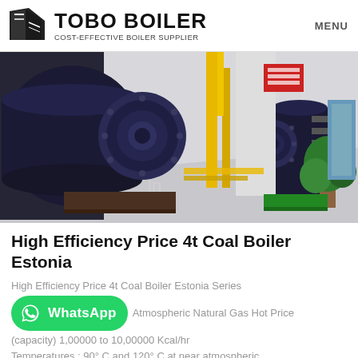TOBO BOILER — COST-EFFECTIVE BOILER SUPPLIER | MENU
[Figure (photo): Industrial boiler room with large dark blue cylindrical boilers, yellow piping, and a clean factory floor]
High Efficiency Price 4t Coal Boiler Estonia
High Efficiency Price 4t Coal Boiler Estonia Series Atmospheric Natural Gas Hot Price (capacity) 1,00000 to 10,00000 Kcal/hr Temperatures : 90° C and 120° C at near atmospheric...